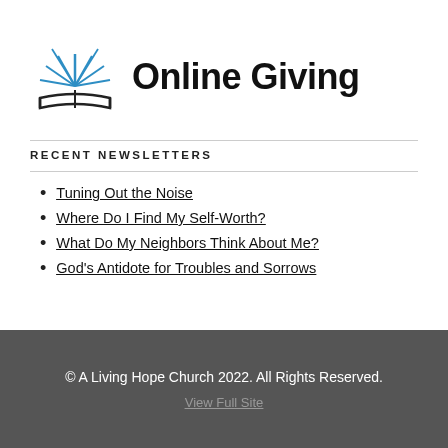[Figure (logo): Open book logo with blue rays emanating from the top center, resembling a sunrise or light burst, with a black book outline at the bottom.]
Online Giving
RECENT NEWSLETTERS
Tuning Out the Noise
Where Do I Find My Self-Worth?
What Do My Neighbors Think About Me?
God's Antidote for Troubles and Sorrows
© A Living Hope Church 2022. All Rights Reserved.
View Full Site